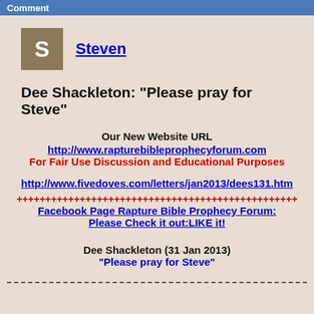Comment
Steven
Dee Shackleton: "Please pray for Steve"
Our New Website URL
http://www.rapturebibleprophecyforum.com
For Fair Use Discussion and Educational Purposes
http://www.fivedoves.com/letters/jan2013/dees131.htm
++++++++++++++++++++++++++++++++++++++++++++++++
Facebook Page Rapture Bible Prophecy Forum:
Please Check it out:LIKE it!
Dee Shackleton (31 Jan 2013)
"Please pray for Steve"